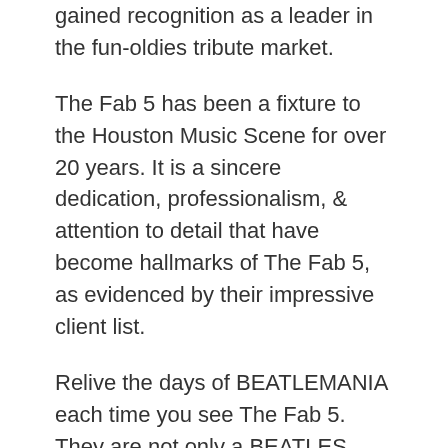gained recognition as a leader in the fun-oldies tribute market.
The Fab 5 has been a fixture to the Houston Music Scene for over 20 years. It is a sincere dedication, professionalism, & attention to detail that have become hallmarks of The Fab 5, as evidenced by their impressive client list.
Relive the days of BEATLEMANIA each time you see The Fab 5. They are not only a BEATLES TRIBUTE BAND, but one of the BEST 60s TRIBUTE BANDS in the nation. In October 2007, The Fab 5 were also featured in The New